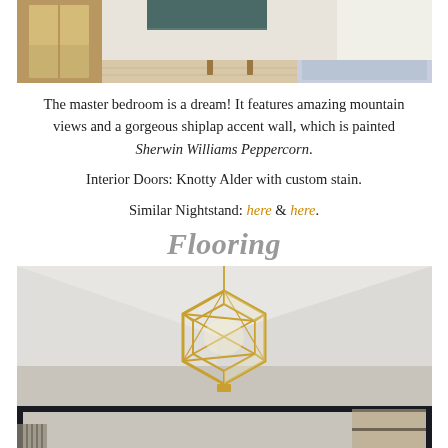[Figure (photo): Interior photo of master bedroom showing wooden furniture, light wood flooring, and a patterned area rug near the window]
The master bedroom is a dream! It features amazing mountain views and a gorgeous shiplap accent wall, which is painted Sherwin Williams Peppercorn.
Interior Doors: Knotty Alder with custom stain.
Similar Nightstand: here & here.
Flooring
[Figure (photo): Interior photo showing a geometric gold/brass hexagonal chandelier hanging from a vaulted white ceiling, with dark metal barn door frame visible in the foreground]